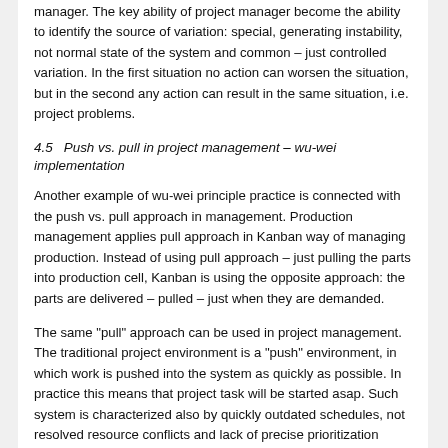manager. The key ability of project manager become the ability to identify the source of variation: special, generating instability, not normal state of the system and common – just controlled variation. In the first situation no action can worsen the situation, but in the second any action can result in the same situation, i.e. project problems.
4.5   Push vs. pull in project management – wu-wei implementation
Another example of wu-wei principle practice is connected with the push vs. pull approach in management. Production management applies pull approach in Kanban way of managing production. Instead of using pull approach – just pulling the parts into production cell, Kanban is using the opposite approach: the parts are delivered – pulled – just when they are demanded.
The same "pull" approach can be used in project management. The traditional project environment is a "push" environment, in which work is pushed into the system as quickly as possible. In practice this means that project task will be started asap. Such system is characterized also by quickly outdated schedules, not resolved resource conflicts and lack of precise prioritization mechanisms. In the "pull" system work is released as late as possible (alap), with consideration of the ability of the whole system to capitalize it.